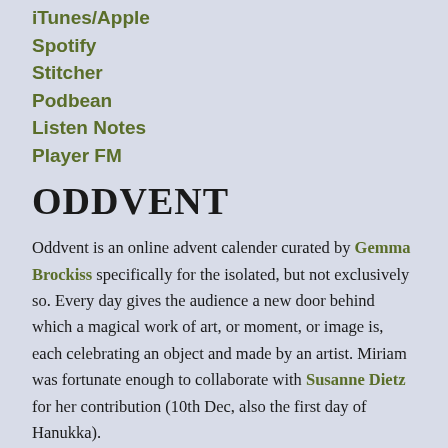iTunes/Apple
Spotify
Stitcher
Podbean
Listen Notes
Player FM
ODDVENT
Oddvent is an online advent calender curated by Gemma Brockiss specifically for the isolated, but not exclusively so. Every day gives the audience a new door behind which a magical work of art, or moment, or image is, each celebrating an object and made by an artist. Miriam was fortunate enough to collaborate with Susanne Dietz for her contribution (10th Dec, also the first day of Hanukka).